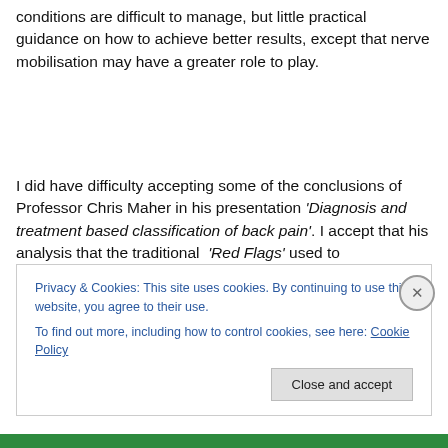conditions are difficult to manage, but little practical guidance on how to achieve better results, except that nerve mobilisation may have a greater role to play.
I did have difficulty accepting some of the conclusions of Professor Chris Maher in his presentation 'Diagnosis and treatment based classification of back pain'. I accept that his analysis that the traditional 'Red Flags' used to
Privacy & Cookies: This site uses cookies. By continuing to use this website, you agree to their use.
To find out more, including how to control cookies, see here: Cookie Policy